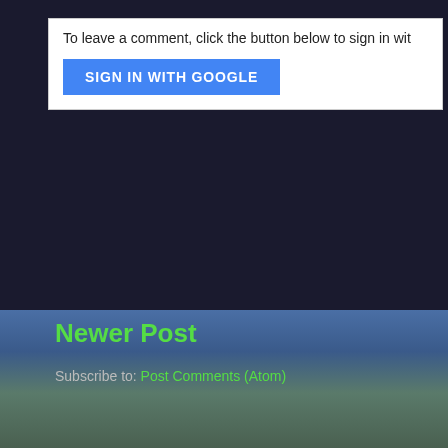[Figure (screenshot): Comment sign-in box with white background on dark page. Contains text 'To leave a comment, click the button below to sign in with' and a blue 'SIGN IN WITH GOOGLE' button.]
To leave a comment, click the button below to sign in with
SIGN IN WITH GOOGLE
Newer Post
Subscribe to: Post Comments (Atom)
Topics
#shoreyourugly #yesallwomen 1/2 Marathon 10K adult adventures blogging blue hair boobs books bootcamp bra break up Bridge brow Christmas church cleaning clothes coffee college Colorado colors c dessert Disney diving dog dog foster dog sit Downton Abbey drinking d friends frustration furniture Game of Thrones gardening German Germany GTMO gym hair Halloween happiness hockey holiday home home d Internet